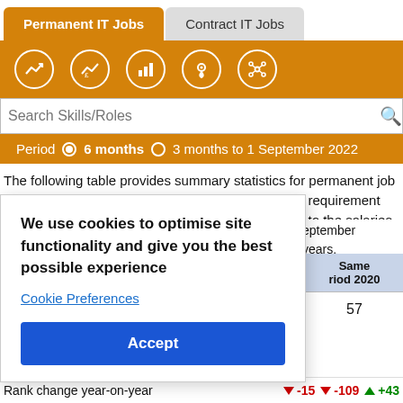Permanent IT Jobs | Contract IT Jobs
The following table provides summary statistics for permanent job vacancies advertised in the East of England with a requirement for jQuery skills. Included is a benchmarking guide to the salaries offered ... eptember years.
We use cookies to optimise site functionality and give you the best possible experience
Cookie Preferences
Accept
| Same riod 2020 |
| --- |
| 57 |
Rank change year-on-year  ▼ -15  ▼ -109  ▲ +43